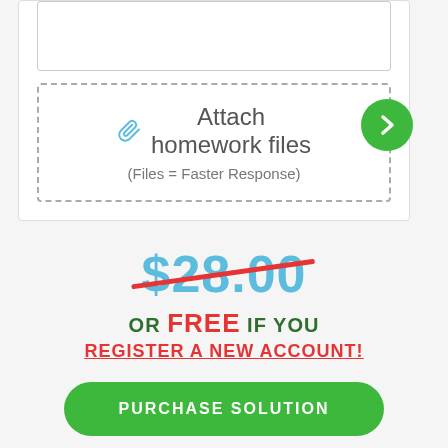[Figure (screenshot): White card with textarea box and a dashed border upload area labeled 'Attach homework files (Files = Faster Response)', plus a green circular next arrow button on the right edge]
📎 Attach homework files
(Files = Faster Response)
$28.00
OR FREE IF YOU REGISTER A NEW ACCOUNT!
PURCHASE SOLUTION